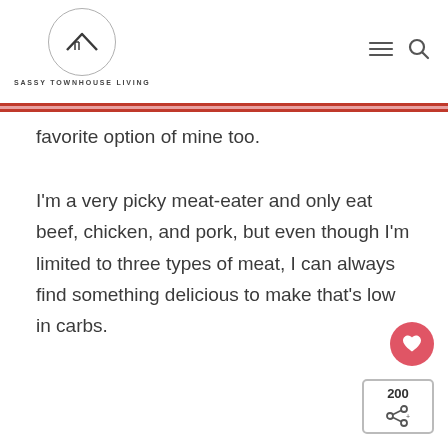SASSY TOWNHOUSE LIVING
favorite option of mine too.
I'm a very picky meat-eater and only eat beef, chicken, and pork, but even though I'm limited to three types of meat, I can always find something delicious to make that's low in carbs.